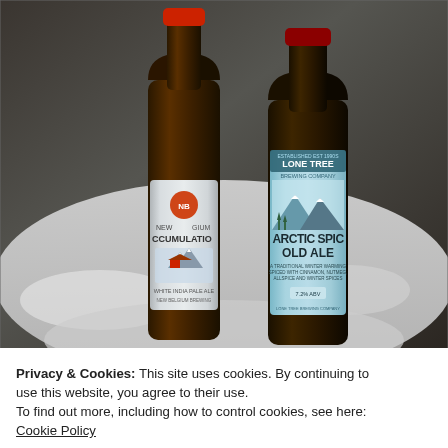[Figure (photo): Two beer bottles resting in snow. Left bottle has a New Belgium Brewing label reading 'ACCUMULATION WHITE INDIA PALE ALE'. Right bottle has a Lone Tree Brewing Company label reading 'ARCTIC SPICE OLD ALE'.]
Privacy & Cookies: This site uses cookies. By continuing to use this website, you agree to their use.
To find out more, including how to control cookies, see here: Cookie Policy
Close and accept